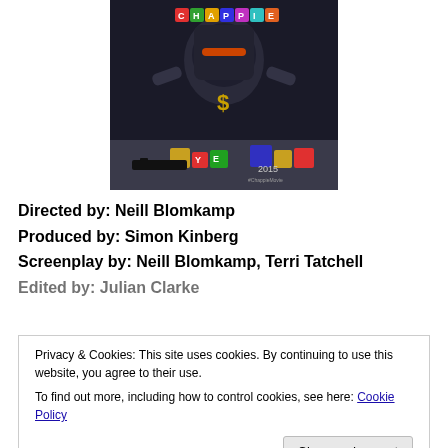[Figure (photo): Movie poster for Chappie (2015) showing a robot with colorful letter blocks and a gun, dark industrial style]
Directed by: Neill Blomkamp
Produced by: Simon Kinberg
Screenplay by: Neill Blomkamp, Terri Tatchell
Edited by: Julian Clarke
Privacy & Cookies: This site uses cookies. By continuing to use this website, you agree to their use.
To find out more, including how to control cookies, see here: Cookie Policy
Sigourney Weaver, Hugh Jackman, Brandon Auret